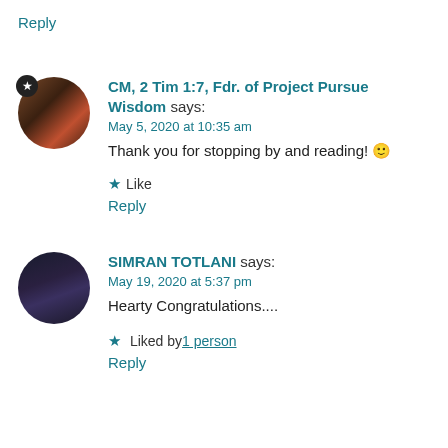Reply
[Figure (photo): Circular avatar photo of CM, 2 Tim 1:7, Fdr. of Project Pursue Wisdom with a star badge overlay]
CM, 2 Tim 1:7, Fdr. of Project Pursue Wisdom says:
May 5, 2020 at 10:35 am
Thank you for stopping by and reading! 🙂
★ Like
Reply
[Figure (photo): Circular avatar photo of Simran Totlani]
SIMRAN TOTLANI says:
May 19, 2020 at 5:37 pm
Hearty Congratulations....
★ Liked by 1 person
Reply